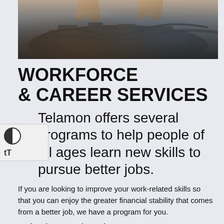[Figure (photo): A mechanic or technician working on a car engine, hands visible working on engine components, close-up shot with blurred background.]
WORKFORCE & CAREER SERVICES
Telamon offers several programs to help people of all ages learn new skills to pursue better jobs.
If you are looking to improve your work-related skills so that you can enjoy the greater financial stability that comes from a better job, we have a program for you.
National Farmworker Jobs Program